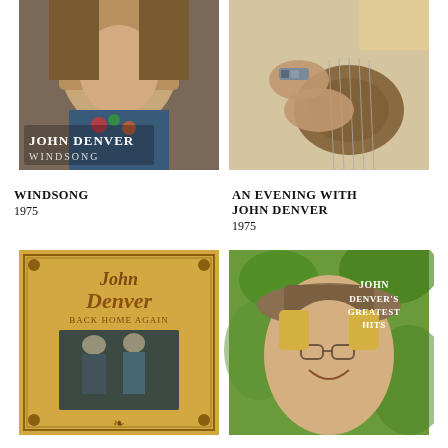[Figure (photo): Album cover for John Denver - Windsong (1975). Man with long hair smiling, text 'JOHN DENVER WINDSONG' on cover.]
[Figure (photo): Album cover for An Evening with John Denver (1975). Close-up of hands playing guitar.]
WINDSONG
1975
AN EVENING WITH JOHN DENVER
1975
[Figure (photo): Album cover for John Denver - Back Home Again. Golden/tan cover with ornate lettering, two people standing in a field.]
[Figure (photo): Album cover for John Denver's Greatest Hits. Green outdoor background, man wearing hat and glasses smiling, text 'JOHN DENVER'S GREATEST HITS'.]
BACK HOME AGAIN
JOHN DENVER'S